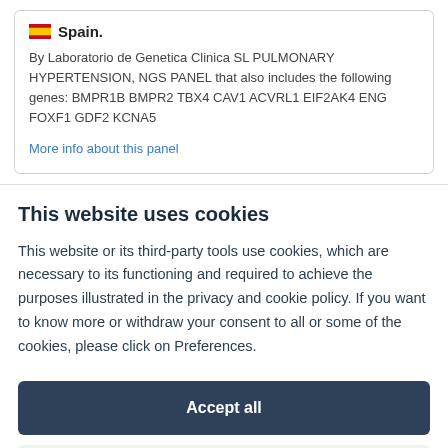[Figure (illustration): Spain flag emoji followed by bold text 'Spain.']
By Laboratorio de Genetica Clinica SL PULMONARY HYPERTENSION, NGS PANEL that also includes the following genes: BMPR1B BMPR2 TBX4 CAV1 ACVRL1 EIF2AK4 ENG FOXF1 GDF2 KCNA5
More info about this panel
This website uses cookies
This website or its third-party tools use cookies, which are necessary to its functioning and required to achieve the purposes illustrated in the privacy and cookie policy. If you want to know more or withdraw your consent to all or some of the cookies, please click on Preferences.
Accept all
Preferences